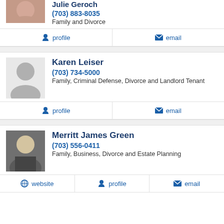Julie Geroch
(703) 883-8035
Family and Divorce
profile  email
Karen Leiser
(703) 734-5000
Family, Criminal Defense, Divorce and Landlord Tenant
profile  email
Merritt James Green
(703) 556-0411
Family, Business, Divorce and Estate Planning
website  profile  email